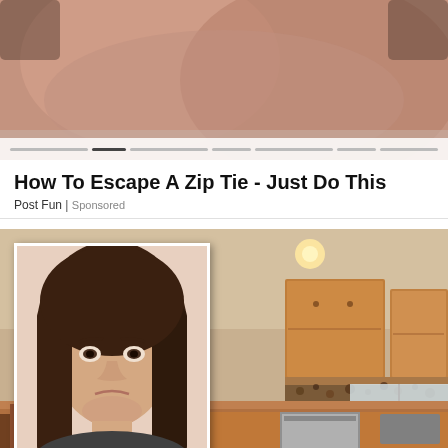[Figure (photo): Top portion of a sponsored article thumbnail image showing a close-up, cropped photo with slider/carousel navigation dots at the bottom]
How To Escape A Zip Tie - Just Do This
Post Fun | Sponsored
[Figure (photo): Composite image: background shows a kitchen with oak cabinets, decorative valance curtains, stainless appliances, and brown countertops. Overlaid in upper left is a portrait photo of a woman with long brown hair looking serious.]
40 Dated Decor Trends That Scream 'Senior'